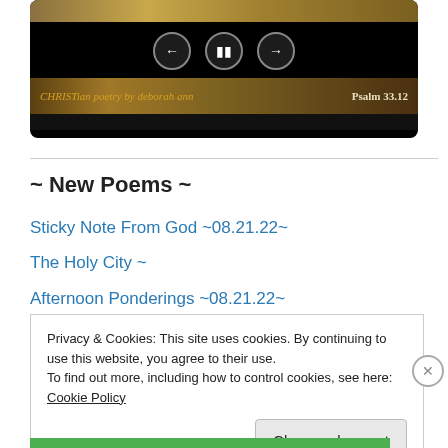[Figure (screenshot): Video player with dark background showing media controls (back, pause, forward buttons) and bottom bar with text 'CHRISTian poetry by deborah ann' and 'Psalm 33.12']
~ New Poems ~
Sticky Note From God ~08.21.22~
The Holy City ~
Afternoon Ponderings ~08.21.22~
Privacy & Cookies: This site uses cookies. By continuing to use this website, you agree to their use.
To find out more, including how to control cookies, see here: Cookie Policy
Close and accept